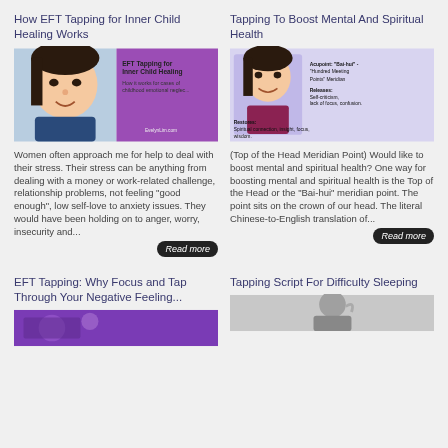How EFT Tapping for Inner Child Healing Works
[Figure (photo): Split image: woman's face on left, purple card on right with text 'EFT Tapping for Inner Child Healing - How it works for cases of childhood emotional neglect - EvelynLim.com']
Women often approach me for help to deal with their stress. Their stress can be anything from dealing with a money or work-related challenge, relationship problems, not feeling "good enough", low self-love to anxiety issues. They would have been holding on to anger, worry, insecurity and...
Tapping To Boost Mental And Spiritual Health
[Figure (photo): Light purple background card showing a woman, with text about Acupoint: 'Bai-hui' - 'Hundred Meeting Points' Meridian. Releases: Self-criticism, lack of focus, confusion. Restores: Spiritual connection, insight, focus, wisdom.]
(Top of the Head Meridian Point) Would like to boost mental and spiritual health? One way for boosting mental and spiritual health is the Top of the Head or the "Bai-hui" meridian point. The point sits on the crown of our head. The literal Chinese-to-English translation of...
EFT Tapping: Why Focus and Tap Through Your Negative Feeling...
[Figure (photo): Purple toned image for EFT Tapping article]
Tapping Script For Difficulty Sleeping
[Figure (photo): Person with hand on head, grayscale photo for Tapping Script article]